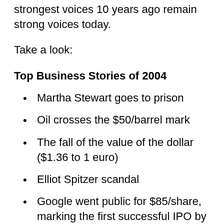strongest voices 10 years ago remain strong voices today.
Take a look:
Top Business Stories of 2004
Martha Stewart goes to prison
Oil crosses the $50/barrel mark
The fall of the value of the dollar ($1.36 to 1 euro)
Elliot Spitzer scandal
Google went public for $85/share, marking the first successful IPO by a major internet business since the end of